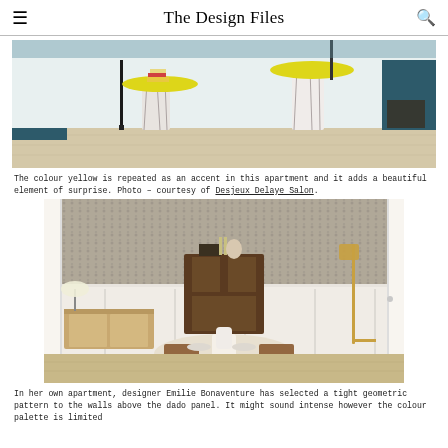The Design Files
[Figure (photo): Interior photo showing marble pedestal side tables with yellow circular tops in a living room with dark teal sofa and herringbone wood floor]
The colour yellow is repeated as an accent in this apartment and it adds a beautiful element of surprise. Photo – courtesy of Desjeux Delaye Salon.
[Figure (photo): Dining room interior with geometric patterned wallpaper above dado rail, round table with cane chairs, wooden sideboard, brass floor lamp, and decorative items on mantel]
In her own apartment, designer Emilie Bonaventure has selected a tight geometric pattern to the walls above the dado panel. It might sound intense however the colour palette is limited